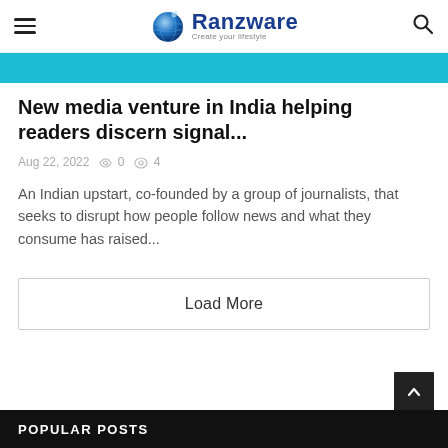Ranzware — Create your lifestyle
[Figure (other): Teal/cyan horizontal banner bar]
New media venture in India helping readers discern signal...
Aug 22, 2022  0  4
An Indian upstart, co-founded by a group of journalists, that seeks to disrupt how people follow news and what they consume has raised...
Load More
POPULAR POSTS